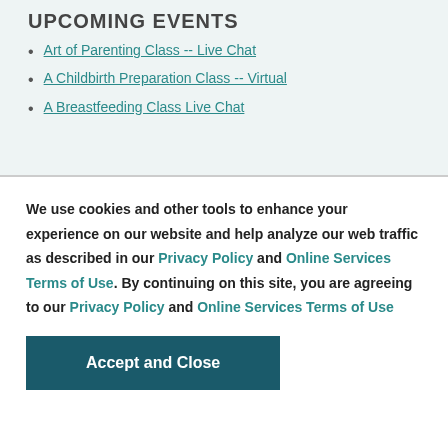UPCOMING EVENTS
Art of Parenting Class -- Live Chat
A Childbirth Preparation Class -- Virtual
A Breastfeeding Class Live Chat
We use cookies and other tools to enhance your experience on our website and help analyze our web traffic as described in our Privacy Policy and Online Services Terms of Use. By continuing on this site, you are agreeing to our Privacy Policy and Online Services Terms of Use